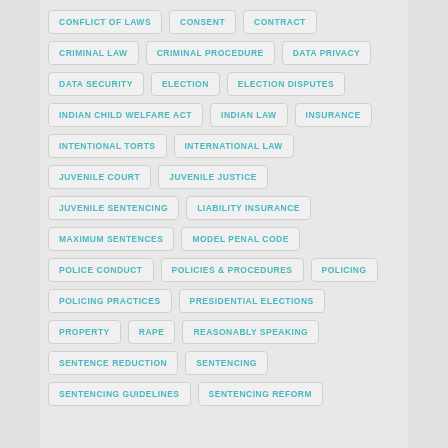CONFLICT OF LAWS
CONSENT
CONTRACT
CRIMINAL LAW
CRIMINAL PROCEDURE
DATA PRIVACY
DATA SECURITY
ELECTION
ELECTION DISPUTES
INDIAN CHILD WELFARE ACT
INDIAN LAW
INSURANCE
INTENTIONAL TORTS
INTERNATIONAL LAW
JUVENILE COURT
JUVENILE JUSTICE
JUVENILE SENTENCING
LIABILITY INSURANCE
MAXIMUM SENTENCES
MODEL PENAL CODE
POLICE CONDUCT
POLICIES & PROCEDURES
POLICING
POLICING PRACTICES
PRESIDENTIAL ELECTIONS
PROPERTY
RAPE
REASONABLY SPEAKING
SENTENCE REDUCTION
SENTENCING
SENTENCING GUIDELINES
SENTENCING REFORM